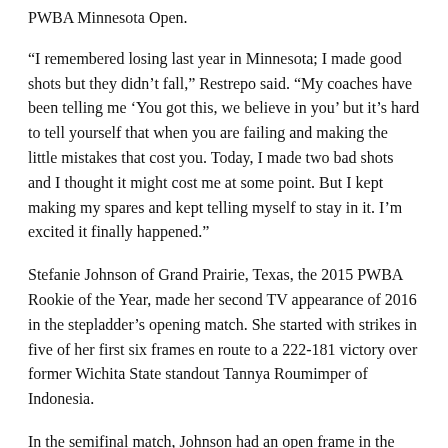PWBA Minnesota Open.
“I remembered losing last year in Minnesota; I made good shots but they didn’t fall,” Restrepo said. “My coaches have been telling me ‘You got this, we believe in you’ but it’s hard to tell yourself that when you are failing and making the little mistakes that cost you. Today, I made two bad shots and I thought it might cost me at some point. But I kept making my spares and kept telling myself to stay in it. I’m excited it finally happened.”
Stefanie Johnson of Grand Prairie, Texas, the 2015 PWBA Rookie of the Year, made her second TV appearance of 2016 in the stepladder’s opening match. She started with strikes in five of her first six frames en route to a 222-181 victory over former Wichita State standout Tannya Roumimper of Indonesia.
In the semifinal match, Johnson had an open frame in the sixth and that proved to be just enough of an opening for Sin, a 2016 USBC Queens finalist, to grab a 225-194 victory to set up the title match against Restrepo.
The qualifying, match play and group stepladder rounds of the PWBA Greater Detroit Open took place June 17-18 at Super Bowl in Canton, Mich. The TV stepladder finals were taped for broadcast